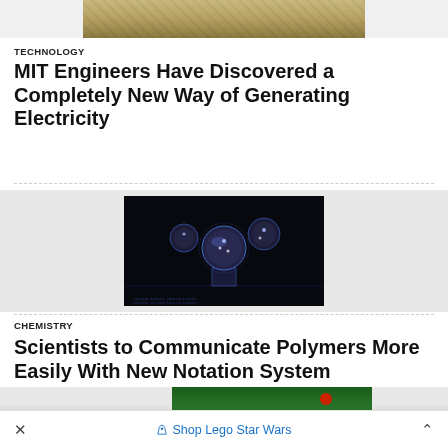[Figure (photo): Partial top image, cut off at top — appears to show a textured surface, possibly a green object on a sandy/earthy background]
TECHNOLOGY
MIT Engineers Have Discovered a Completely New Way of Generating Electricity
[Figure (photo): Dark sci-fi illustration showing floating spherical molecular or robotic structures above a glowing digital surface, on a black background]
CHEMISTRY
Scientists to Communicate Polymers More Easily With New Notation System
[Figure (photo): Partial bottom image cut off — green foliage with a red element, likely a plant or flower]
× Shop Lego Star Wars ^